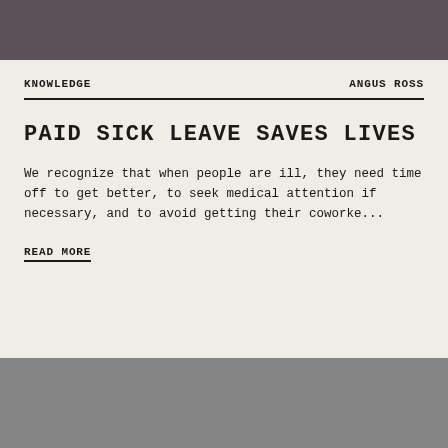[Figure (photo): Dark brownish-gray background image strip at the top of the page]
KNOWLEDGE   ANGUS ROSS
PAID SICK LEAVE SAVES LIVES
We recognize that when people are ill, they need time off to get better, to seek medical attention if necessary, and to avoid getting their coworke...
READ MORE
[Figure (photo): Gray background image strip at the bottom of the page]